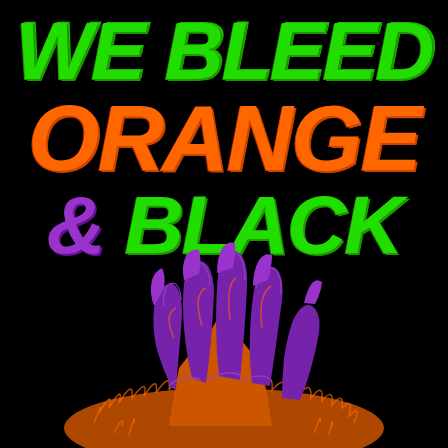WE BLEED ORANGE & BLACK
[Figure (illustration): A monster or zombie claw/hand reaching up from the bottom of the image, rendered in purple and orange colors with detailed linework, emerging dramatically against black background]